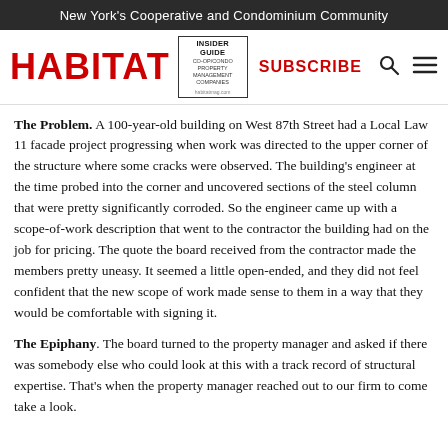New York's Cooperative and Condominium Community
[Figure (logo): Habitat magazine logo with red bold HABITAT text, Insider Guide box for Co-op/Condo Property Management Companies, SUBSCRIBE link, search icon, and hamburger menu icon]
The Problem. A 100-year-old building on West 87th Street had a Local Law 11 facade project progressing when work was directed to the upper corner of the structure where some cracks were observed. The building's engineer at the time probed into the corner and uncovered sections of the steel column that were pretty significantly corroded. So the engineer came up with a scope-of-work description that went to the contractor the building had on the job for pricing. The quote the board received from the contractor made the members pretty uneasy. It seemed a little open-ended, and they did not feel confident that the new scope of work made sense to them in a way that they would be comfortable with signing it.
The Epiphany. The board turned to the property manager and asked if there was somebody else who could look at this with a track record of structural expertise. That's when the property manager reached out to our firm to come take a look.